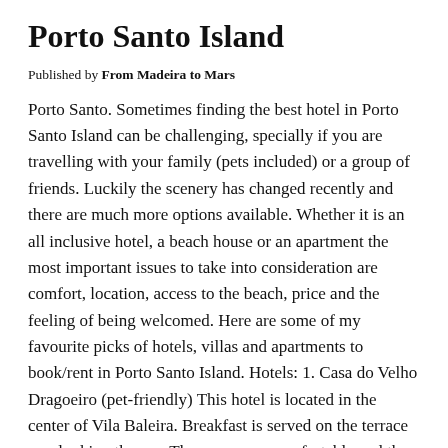Porto Santo Island
Published by From Madeira to Mars
Porto Santo. Sometimes finding the best hotel in Porto Santo Island can be challenging, specially if you are travelling with your family (pets included) or a group of friends. Luckily the scenery has changed recently and there are much more options available. Whether it is an all inclusive hotel, a beach house or an apartment the most important issues to take into consideration are comfort, location, access to the beach, price and the feeling of being welcomed. Here are some of my favourite picks of hotels, villas and apartments to book/rent in Porto Santo Island. Hotels: 1. Casa do Velho Dragoeiro (pet-friendly) This hotel is located in the center of Vila Baleira. Breakfast is served on the terrace overlooking the sea. The rooms are comfortable and the staff is very friendly, with great ratings. It has a